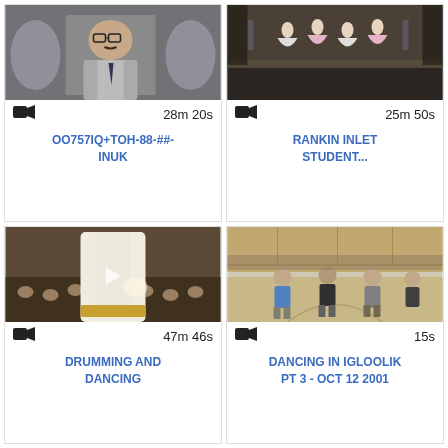[Figure (screenshot): Video thumbnail: man with glasses and mustache in grey vest, indoor setting]
28m 20s
OO757IQ+TOH-88-##-INUK
[Figure (screenshot): Video thumbnail: stage performance with dancers in colorful costumes]
25m 50s
RANKIN INLET STUDENT...
[Figure (screenshot): Video thumbnail: person in white traditional garment performing, audience in background]
47m 46s
DRUMMING AND DANCING
[Figure (screenshot): Video thumbnail: people dancing in a gymnasium, wood-paneled walls]
15s
DANCING IN IGLOOLIK PT 3 - OCT 12 2001